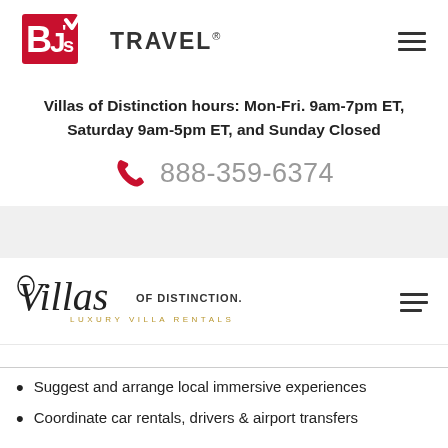BJ's TRAVEL® [hamburger menu]
Villas of Distinction hours: Mon-Fri. 9am-7pm ET, Saturday 9am-5pm ET, and Sunday Closed
888-359-6374
[Figure (logo): Villas of Distinction - Luxury Villa Rentals logo with hamburger menu icon]
Suggest and arrange local immersive experiences
Coordinate car rentals, drivers & airport transfers